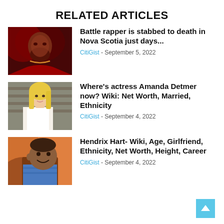RELATED ARTICLES
[Figure (photo): Portrait photo of a male battle rapper with beard and chain necklace, dramatic red lighting]
Battle rapper is stabbed to death in Nova Scotia just days...
CitiGist - September 5, 2022
[Figure (photo): Portrait photo of actress Amanda Detmer, blonde woman in white dress]
Where's actress Amanda Detmer now? Wiki: Net Worth, Married, Ethnicity
CitiGist - September 4, 2022
[Figure (photo): Portrait photo of a young smiling Black child, Hendrix Hart]
Hendrix Hart- Wiki, Age, Girlfriend, Ethnicity, Net Worth, Height, Career
CitiGist - September 4, 2022